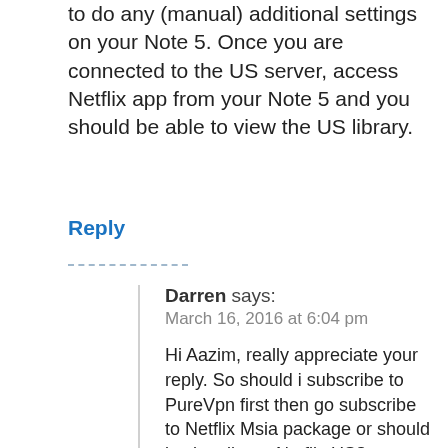to do any (manual) additional settings on your Note 5. Once you are connected to the US server, access Netflix app from your Note 5 and you should be able to view the US library.
Reply
Darren says: March 16, 2016 at 6:04 pm
Hi Aazim, really appreciate your reply. So should i subscribe to PureVpn first then go subscribe to Netflix Msia package or should i subscribe to Netflix US?
Because last time i tried a Vpn for a month, and i was on Netflix Msia package, i keep having the error that i'm behind a proxy and i can't watch.